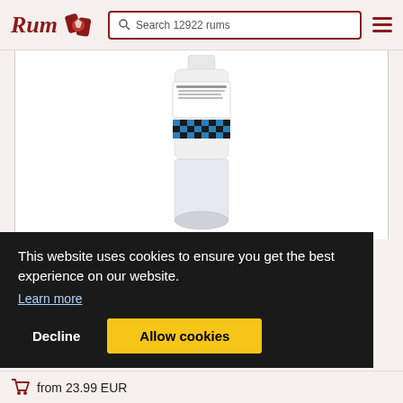[Figure (logo): Rum rating site logo with cursive 'Rum' text and rum bottle icon in dark red]
Search 12922 rums
[Figure (photo): Photo of a rum bottle with white label featuring blue and black diamond/checkered pattern decoration]
This website uses cookies to ensure you get the best experience on our website.
Learn more
Decline
Allow cookies
from 23.99 EUR